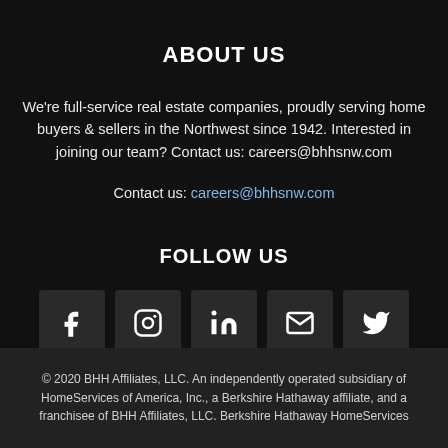ABOUT US
We're full-service real estate companies, proudly serving home buyers & sellers in the Northwest since 1942. Interested in joining our team? Contact us: careers@bhhsnw.com
Contact us: careers@bhhsnw.com
FOLLOW US
[Figure (infographic): Row of 5 social media icon buttons: Facebook, Instagram, LinkedIn, Email, Twitter]
© 2020 BHH Affiliates, LLC. An independently operated subsidiary of HomeServices of America, Inc., a Berkshire Hathaway affiliate, and a franchisee of BHH Affiliates, LLC. Berkshire Hathaway HomeServices